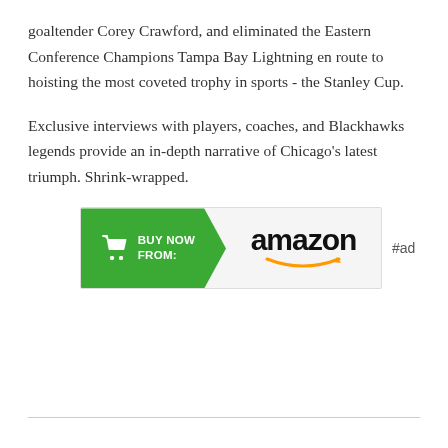goaltender Corey Crawford, and eliminated the Eastern Conference Champions Tampa Bay Lightning en route to hoisting the most coveted trophy in sports - the Stanley Cup.
Exclusive interviews with players, coaches, and Blackhawks legends provide an in-depth narrative of Chicago's latest triumph. Shrink-wrapped.
[Figure (other): Amazon 'Buy Now From' advertisement banner with green arrow shape on left containing shopping cart icon and 'BUY NOW FROM:' text in white, and Amazon logo with smile on grey right side. '#ad' label to the right.]